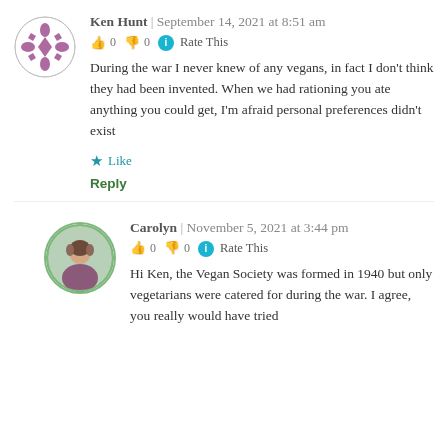Ken Hunt | September 14, 2021 at 8:51 am
👍 0 👎 0 ℹ Rate This
During the war I never knew of any vegans, in fact I don't think they had been invented. When we had rationing you ate anything you could get, I'm afraid personal preferences didn't exist
★ Like
Reply
Carolyn | November 5, 2021 at 3:44 pm
👍 0 👎 0 ℹ Rate This
Hi Ken, the Vegan Society was formed in 1940 but only vegetarians were catered for during the war. I agree, you really would have tried